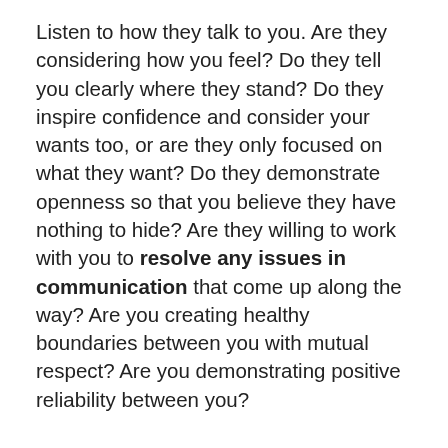Listen to how they talk to you. Are they considering how you feel? Do they tell you clearly where they stand? Do they inspire confidence and consider your wants too, or are they only focused on what they want? Do they demonstrate openness so that you believe they have nothing to hide? Are they willing to work with you to resolve any issues in communication that come up along the way? Are you creating healthy boundaries between you with mutual respect? Are you demonstrating positive reliability between you?
The answers to these questions will help to reveal what actions need to be taken for real trust to be strengthened. New skills and support may be required to successfully resolve your communication issues so you can